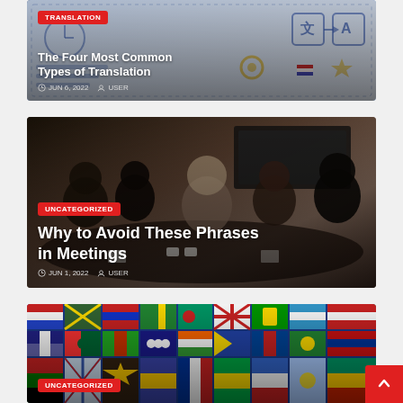[Figure (screenshot): Blog post card: 'The Four Most Common Types of Translation' with illustrated translation-themed background, dated JUN 6, 2022 by USER]
[Figure (screenshot): Blog post card: 'Why to Avoid These Phrases in Meetings' with photo of business people in a meeting, tagged UNCATEGORIZED, dated JUN 1, 2022 by USER]
[Figure (screenshot): Blog post card partially visible: photo of colorful world flags fabric/pattern, tagged UNCATEGORIZED]